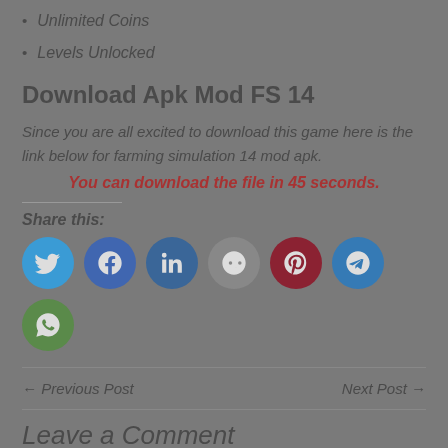Unlimited Coins
Levels Unlocked
Download Apk Mod FS 14
Since you are all excited to download this game here is the link below for farming simulation 14 mod apk.
You can download the file in 45 seconds.
Share this:
[Figure (infographic): Social sharing icons: Twitter, Facebook, LinkedIn, Reddit, Pinterest, Telegram, WhatsApp]
← Previous Post    Next Post →
Leave a Comment